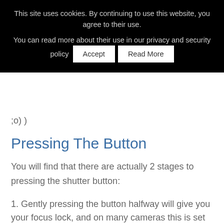This site uses cookies. By continuing to use this website, you agree to their use.

You can read more about their use in our privacy and security policy  [Accept]  [Read More]
;o) )
Pressing The Button
You will find that there are actually 2 stages to pressing the shutter button:
1. Gently pressing the button halfway will give you your focus lock, and on many cameras this is set to beep as a default when focus is gained as well as the focal points being used lighting up on in the viewfinder. If you find it doesn't